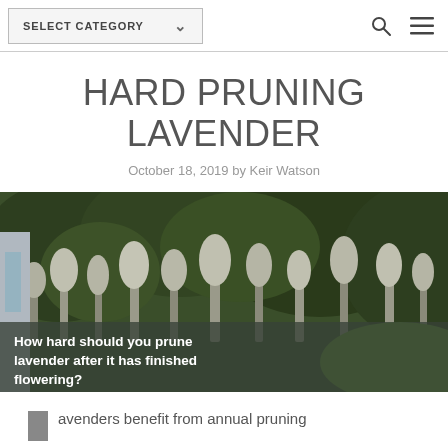SELECT CATEGORY
HARD PRUNING LAVENDER
October 18, 2019 by Keir Watson
[Figure (photo): Photo of lavender plants in bloom in a garden with dark green hedge in background. Overlay text reads: How hard should you prune lavender after it has finished flowering?]
avenders benefit from annual pruning